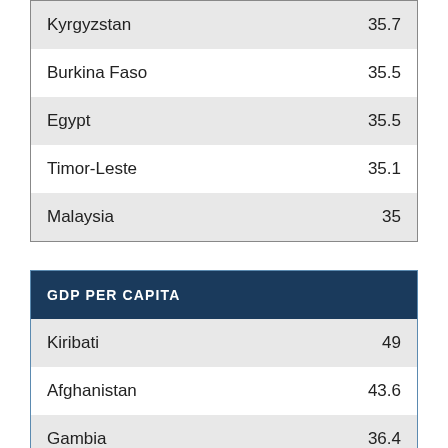| Country | Value |
| --- | --- |
| Kyrgyzstan | 35.7 |
| Burkina Faso | 35.5 |
| Egypt | 35.5 |
| Timor-Leste | 35.1 |
| Malaysia | 35 |
| GDP PER CAPITA |  |
| --- | --- |
| Kiribati | 49 |
| Afghanistan | 43.6 |
| Gambia | 36.4 |
|  |  |